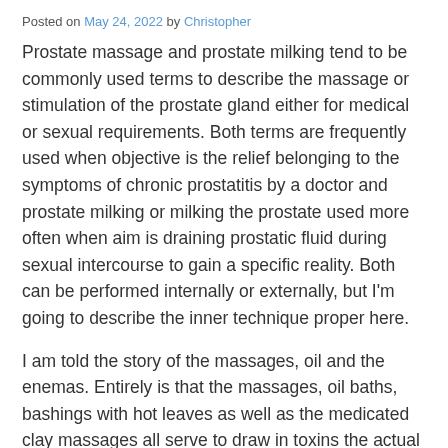Posted on May 24, 2022 by Christopher
Prostate massage and prostate milking tend to be commonly used terms to describe the massage or stimulation of the prostate gland either for medical or sexual requirements. Both terms are frequently used when objective is the relief belonging to the symptoms of chronic prostatitis by a doctor and prostate milking or milking the prostate used more often when aim is draining prostatic fluid during sexual intercourse to gain a specific reality. Both can be performed internally or externally, but I'm going to describe the inner technique proper here.
I am told the story of the massages, oil and the enemas. Entirely is that the massages, oil baths, bashings with hot leaves as well as the medicated clay massages all serve to draw in toxins the actual the tissues and into the bowels. These toxins are then